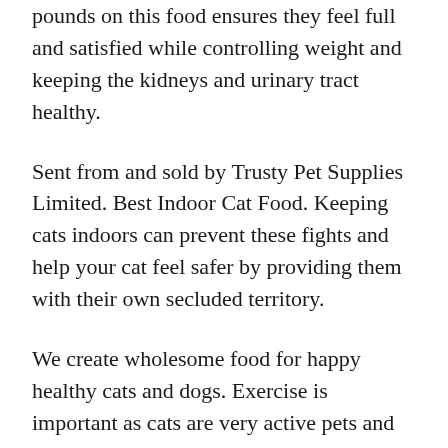pounds on this food ensures they feel full and satisfied while controlling weight and keeping the kidneys and urinary tract healthy.
Sent from and sold by Trusty Pet Supplies Limited. Best Indoor Cat Food. Keeping cats indoors can prevent these fights and help your cat feel safer by providing them with their own secluded territory.
We create wholesome food for happy healthy cats and dogs. Exercise is important as cats are very active pets and so room to play as well as access to cat toys such as scratching posts are